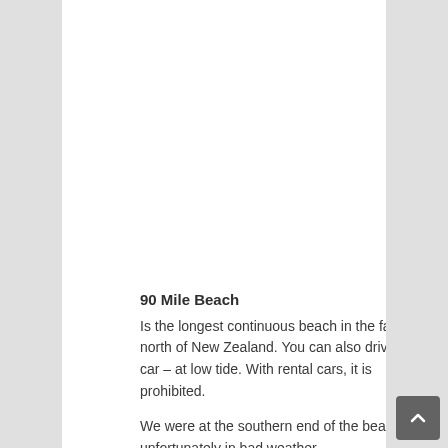90 Mile Beach
Is the longest continuous beach in the far north of New Zealand. You can also drive it by car – at low tide. With rental cars, it is prohibited.
We were at the southern end of the beach – unfortunately in bad weather.